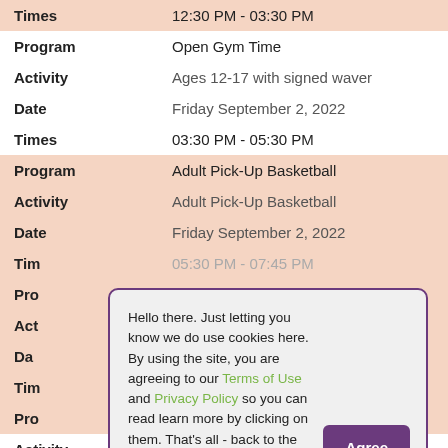| Times | 12:30 PM - 03:30 PM |
| Program | Open Gym Time |
| Activity | Ages 12-17 with signed waver |
| Date | Friday September 2, 2022 |
| Times | 03:30 PM - 05:30 PM |
| Program | Adult Pick-Up Basketball |
| Activity | Adult Pick-Up Basketball |
| Date | Friday September 2, 2022 |
| Tim | 05:30 PM - 07:45 PM |
| Pro |  |
| Act |  |
| Da |  |
| Tim |  |
| Pro |  |
| Activity | Zumba® Gold Toning (Tuesdays) Session I |
Hello there. Just letting you know we do use cookies here. By using the site, you are agreeing to our Terms of Use and Privacy Policy so you can read learn more by clicking on them. That's all - back to the fun!